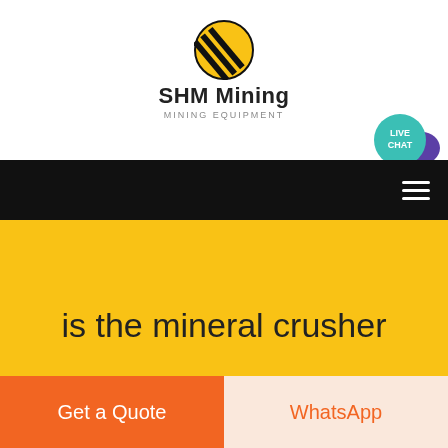[Figure (logo): SHM Mining logo: yellow circle with black diagonal stripes, bold text 'SHM Mining' and subtitle 'MINING EQUIPMENT']
[Figure (infographic): Teal circular badge with white text 'LIVE CHAT' and a purple speech bubble icon]
[Figure (infographic): Black navigation bar with white hamburger menu icon on the right]
is the mineral crusher
Get a Quote
WhatsApp